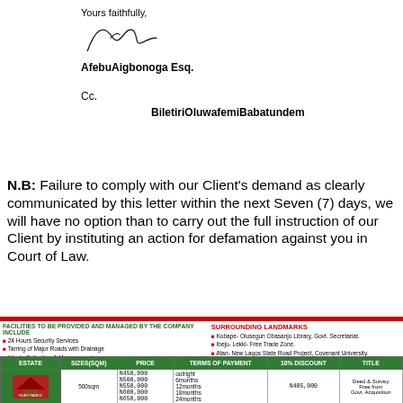Yours faithfully,
[Figure (illustration): Handwritten signature of AfebuAigbonoga Esq.]
AfebuAigbonoga Esq.
Cc.
BiletiriOluwafemiBabatundem
N.B: Failure to comply with our Client's demand as clearly communicated by this letter within the next Seven (7) days, we will have no option than to carry out the full instruction of our Client by instituting an action for defamation against you in Court of Law.
| ESTATE | SIZES(SQM) | PRICE | TERMS OF PAYMENT | 10% DISCOUNT | TITLE |
| --- | --- | --- | --- | --- | --- |
| RUBY PARKS [logo] | 500sqm | N450,000
N500,000
N550,000
N600,000
N650,000 | outright
6months
12months
18months
24months | N405,000 | Deed & Survey Free from Govt. Acquisition |
| PARK PARKS [logo] | 500sqs | N700,000
N750,000
N800,000
N850,000
N900,000 | outright
6months
12months
18months
24months | N630,000 | Deed & Survey Free from Govt. Acquisition |
| JUBILANT PARKS [logo] | 500sqm | N800,000
N850,000
N900,000
N950,000
N1 Million | outright
6months
12months
18months
24months | N720,000 | Deed & Survey Free from Govt. Acquisition |
| [next row] |  | N1Million | outright | N900,000 |  |